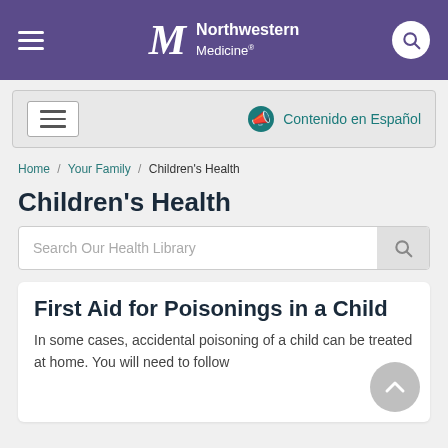Northwestern Medicine
Contenido en Español
Home / Your Family / Children's Health
Children's Health
Search Our Health Library
First Aid for Poisonings in a Child
In some cases, accidental poisoning of a child can be treated at home. You will need to follow